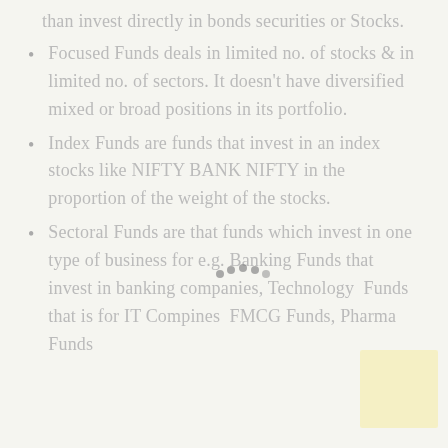than invest directly in bonds securities or Stocks.
Focused Funds deals in limited no. of stocks & in limited no. of sectors. It doesn't have diversified mixed or broad positions in its portfolio.
Index Funds are funds that invest in an index stocks like NIFTY BANK NIFTY in the proportion of the weight of the stocks.
Sectoral Funds are that funds which invest in one type of business for e.g. Banking Funds that invest in banking companies, Technology Funds that is for IT Compines FMCG Funds, Pharma Funds